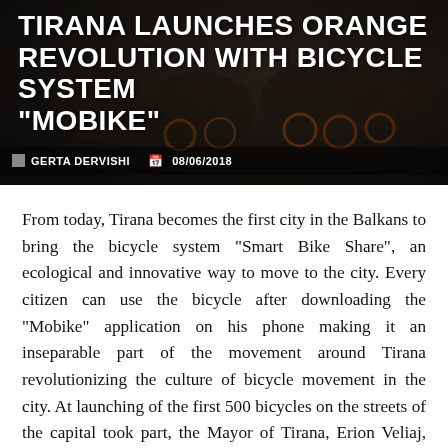[Figure (photo): Dark photo of people riding orange bicycles on a city street, used as hero image background for the article.]
TIRANA LAUNCHES ORANGE REVOLUTION WITH BICYCLE SYSTEM “MOBIKE”
GERTA DERVISHI  08/06/2018
From today, Tirana becomes the first city in the Balkans to bring the bicycle system “Smart Bike Share”, an ecological and innovative way to move to the city. Every citizen can use the bicycle after downloading the “Mobike” application on his phone making it an inseparable part of the movement around Tirana revolutionizing the culture of bicycle movement in the city. At launching of the first 500 bicycles on the streets of the capital took part, the Mayor of Tirana, Erion Veliaj, representatives of Mobike and representatives of the Italian and Chinese Embassies in our